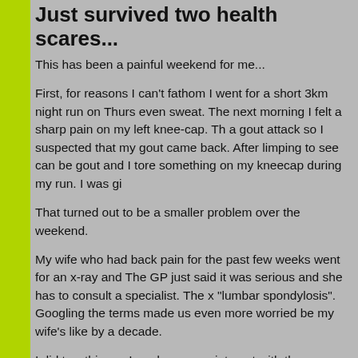Just survived two health scares...
This has been a painful weekend for me...
First, for reasons I can't fathom I went for a short 3km night run on Thurs even sweat. The next morning I felt a sharp pain on my left knee-cap. Th a gout attack so I suspected that my gout came back. After limping to see can be gout and I tore something on my kneecap during my run. I was gi
That turned out to be a smaller problem over the weekend.
My wife who had back pain for the past few weeks went for an x-ray and The GP just said it was serious and she has to consult a specialist. The x "lumbar spondylosis". Googling the terms made us even more worried be my wife's like by a decade.
I did two things - I made an appointment with the government hospital ar student who worked in the private healthcare sector and asked for a few government hospital could even get back with an email, I secured an app morning at 10am.
Paying for an expert is well worth the money.
It saved us time and the doctor was able to explain very clearly what the X-Ray was too thorough and exaggerated the problem ( keyword spam )